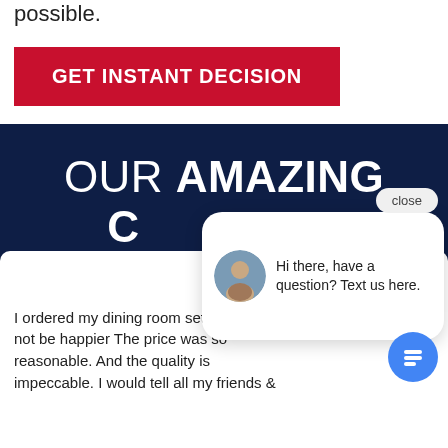possible.
GET INSTANT DECISION
[Figure (screenshot): Dark navy blue section with large white text 'OUR AMAZING C' partially visible, overlaid with a chat popup widget showing a woman avatar and text 'Hi there, have a question? Text us here.' with a close button, and a blue circular chat FAB button in bottom right. Below is a white review card with text 'I ordered my dining room set and I cou not be happier The price was so reasonable. And the quality is impeccable. I would tell all my friends &']